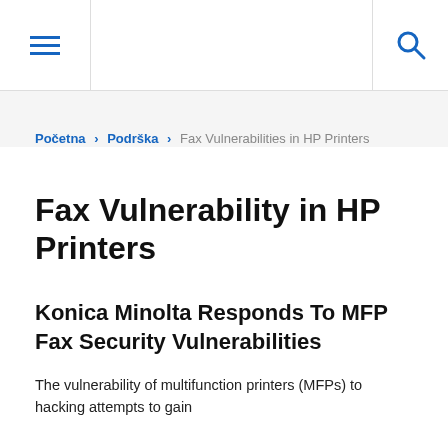≡  [search]
Početna › Podrška › Fax Vulnerabilities in HP Printers
Fax Vulnerability in HP Printers
Konica Minolta Responds To MFP Fax Security Vulnerabilities
The vulnerability of multifunction printers (MFPs) to hacking attempts to gain